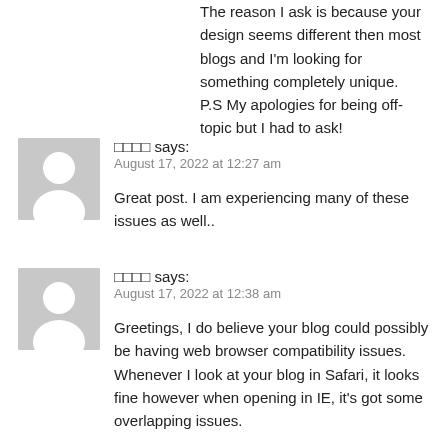The reason I ask is because your design seems different then most blogs and I'm looking for something completely unique.
P.S My apologies for being off-topic but I had to ask!
□□□□ says:
August 17, 2022 at 12:27 am
Great post. I am experiencing many of these issues as well..
□□□□ says:
August 17, 2022 at 12:38 am
Greetings, I do believe your blog could possibly be having web browser compatibility issues. Whenever I look at your blog in Safari, it looks fine however when opening in IE, it's got some overlapping issues.